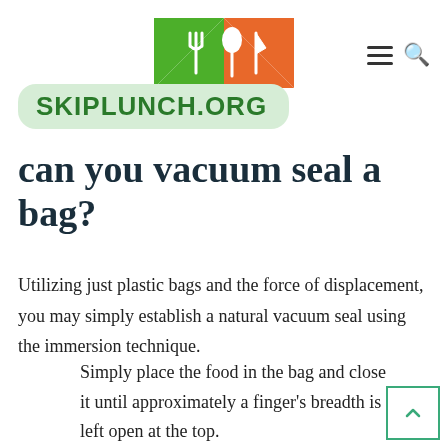[Figure (logo): SkipLunch.org logo — green and orange square with fork, knife and spoon icons, with 'SKIPLUNCH.ORG' text badge below in green on light green rounded rectangle background]
can you vacuum seal a bag?
Utilizing just plastic bags and the force of displacement, you may simply establish a natural vacuum seal using the immersion technique.
Simply place the food in the bag and close it until approximately a finger's breadth is left open at the top.